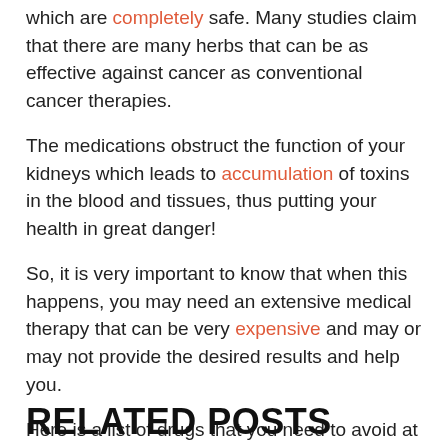which are completely safe. Many studies claim that there are many herbs that can be as effective against cancer as conventional cancer therapies.
The medications obstruct the function of your kidneys which leads to accumulation of toxins in the blood and tissues, thus putting your health in great danger!
So, it is very important to know that when this happens, you may need an extensive medical therapy that can be very expensive and may or may not provide the desired results and help you.
Here is a list of drugs that you need to avoid at all costs:
Analgesics:
RELATED POSTS